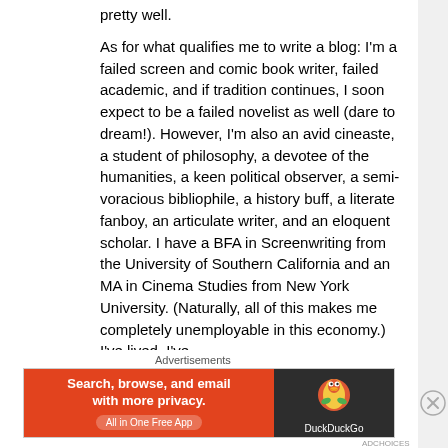pretty well.

As for what qualifies me to write a blog: I'm a failed screen and comic book writer, failed academic, and if tradition continues, I soon expect to be a failed novelist as well (dare to dream!).  However, I'm also an avid cineaste, a student of philosophy, a devotee of the humanities, a keen political observer, a semi-voracious bibliophile, a history buff, a literate fanboy, an articulate writer, and an eloquent scholar.  I have a BFA in Screenwriting from the University of Southern California and an MA in Cinema Studies from New York University. (Naturally, all of this makes me completely unemployable in this economy.)  I've lived, I've
Advertisements
[Figure (other): DuckDuckGo advertisement banner: orange left panel with text 'Search, browse, and email with more privacy. All in One Free App' and dark right panel with DuckDuckGo logo and brand name.]